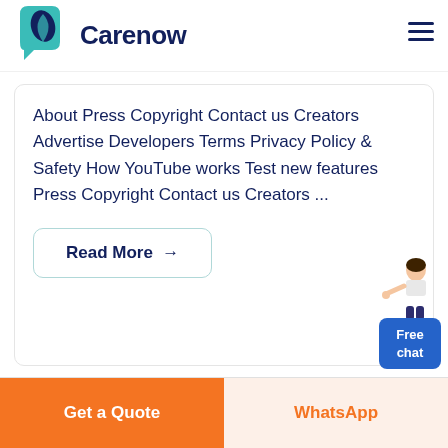[Figure (logo): Carenow logo with teal leaf/tooth icon and dark navy text]
About Press Copyright Contact us Creators Advertise Developers Terms Privacy Policy & Safety How YouTube works Test new features Press Copyright Contact us Creators ...
Read More →
[Figure (illustration): Free chat widget with a woman pointing and a blue box labeled Free chat]
Get a Quote
WhatsApp